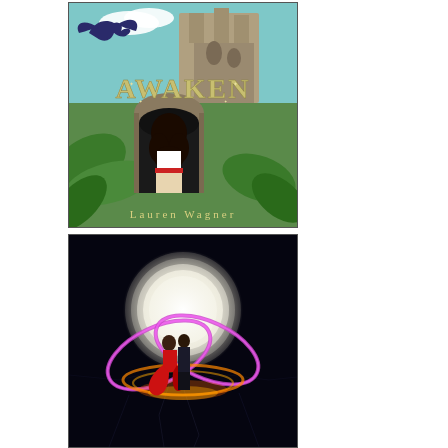[Figure (illustration): Book cover for 'AWAKEN' by Lauren Wagner. Fantasy illustration showing a girl with dark curly hair viewed from behind, standing before ancient stone ruins with lush tropical vegetation, large leaves, and a dragon silhouetted in the sky against clouds and a stone castle/fortress structure.]
[Figure (illustration): Book cover showing a romantic fantasy scene with a couple embracing, woman in red dress, surrounded by colorful magical energy rings/halos in purple and gold, with a large bright full moon in the background against a dark cracked stone surface.]